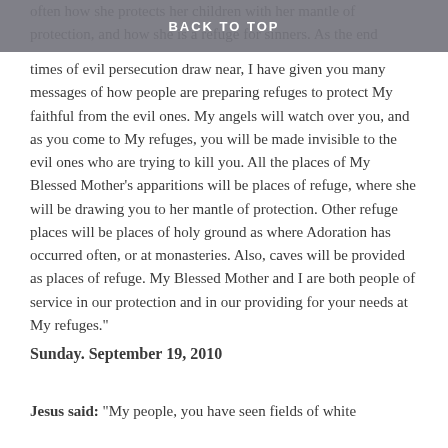BACK TO TOP
often how she protects her children with her mantle of protection, and how she is a refuge for sinners. As the end times of evil persecution draw near, I have given you many messages of how people are preparing refuges to protect My faithful from the evil ones. My angels will watch over you, and as you come to My refuges, you will be made invisible to the evil ones who are trying to kill you. All the places of My Blessed Mother’s apparitions will be places of refuge, where she will be drawing you to her mantle of protection. Other refuge places will be places of holy ground as where Adoration has occurred often, or at monasteries. Also, caves will be provided as places of refuge. My Blessed Mother and I are both people of service in our protection and in our providing for your needs at My refuges.”
Sunday. September 19, 2010
Jesus said: “My people, you have seen fields of white